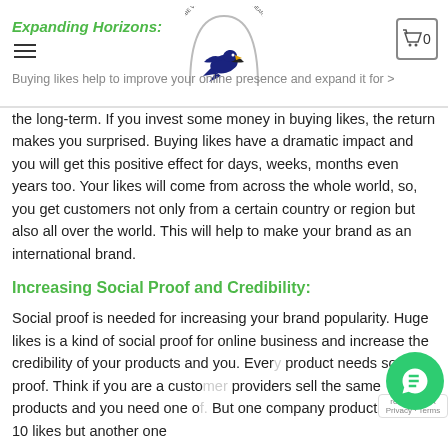Expanding Horizons:
Buying likes help to improve your online presence and expand it for the long-term. If you invest some money in buying likes, the return makes you surprised. Buying likes have a dramatic impact and you will get this positive effect for days, weeks, months even years too. Your likes will come from across the whole world, so, you get customers not only from a certain country or region but also all over the world. This will help to make your brand as an international brand.
Increasing Social Proof and Credibility:
Social proof is needed for increasing your brand popularity. Huge likes is a kind of social proof for online business and increase the credibility of your products and you. Every product needs social proof. Think if you are a customer providers sell the same products and you need one of. But one company product has only 10 likes but another one